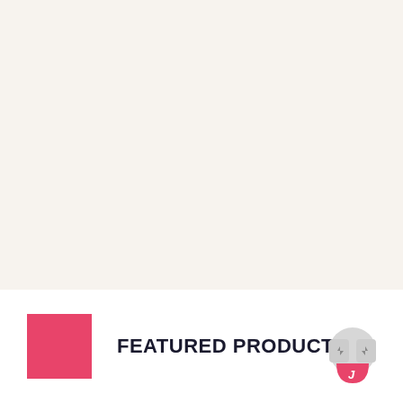[Figure (illustration): Large off-white/cream background area occupying the top portion of the page]
FEATURED PRODUCTS
[Figure (illustration): Navigation arrow buttons with a pink/rose colored circular logo icon on the bottom right]